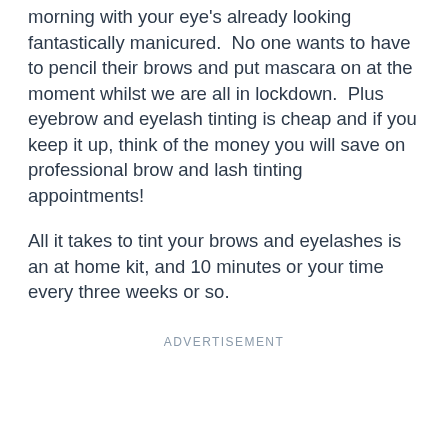morning with your eye's already looking fantastically manicured.  No one wants to have to pencil their brows and put mascara on at the moment whilst we are all in lockdown.  Plus eyebrow and eyelash tinting is cheap and if you keep it up, think of the money you will save on professional brow and lash tinting appointments!
All it takes to tint your brows and eyelashes is an at home kit, and 10 minutes or your time every three weeks or so.
ADVERTISEMENT